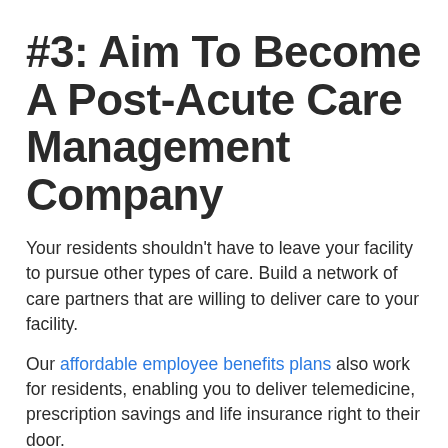#3: Aim To Become A Post-Acute Care Management Company
Your residents shouldn't have to leave your facility to pursue other types of care. Build a network of care partners that are willing to deliver care to your facility.
Our affordable employee benefits plans also work for residents, enabling you to deliver telemedicine, prescription savings and life insurance right to their door.
Survival in this emerging post-acute environment requires extreme efficiency – and our technology and partnerships can help. If you'd like to hear more about this, get in touch.